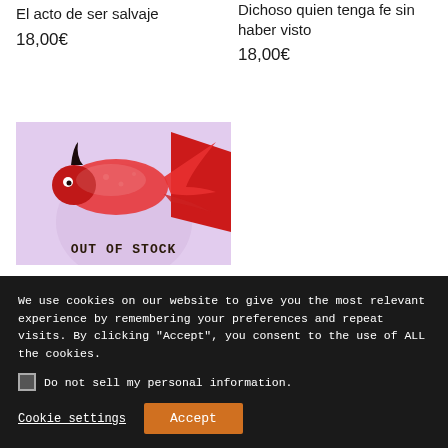El acto de ser salvaje
18,00€
Dichoso quien tenga fe sin haber visto
18,00€
[Figure (illustration): Book cover illustration with a stylized red bird/fish creature flying against a light purple background, with a large red flag or wing shape on the right. Text 'OUT OF STOCK' overlaid at bottom.]
We use cookies on our website to give you the most relevant experience by remembering your preferences and repeat visits. By clicking "Accept", you consent to the use of ALL the cookies.
Do not sell my personal information.
Cookie settings
Accept